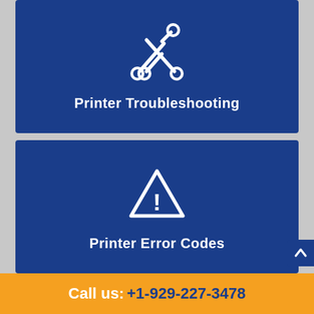[Figure (infographic): Blue card with wrench/scissors tool icon and text Printer Troubleshooting]
[Figure (infographic): Blue card with warning triangle exclamation icon and text Printer Error Codes]
[Figure (infographic): Blue card with slider/equalizer icon and text Wireless Printer Set Up]
Call us: +1-929-227-3478